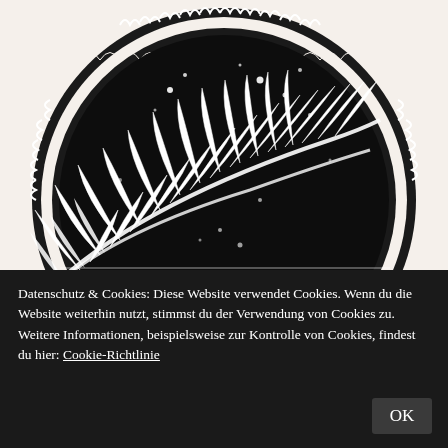[Figure (illustration): Black and white circular emblem/logo featuring a large palm or fern frond in the foreground against a dark night sky with small white dots (stars). The circle is bordered by an ornate wave/scroll pattern. The background is a light cream/beige color. The lower portion of the circle is cut off by the cookie consent banner.]
Datenschutz & Cookies: Diese Website verwendet Cookies. Wenn du die Website weiterhin nutzt, stimmst du der Verwendung von Cookies zu.
Weitere Informationen, beispielsweise zur Kontrolle von Cookies, findest du hier: Cookie-Richtlinie
OK